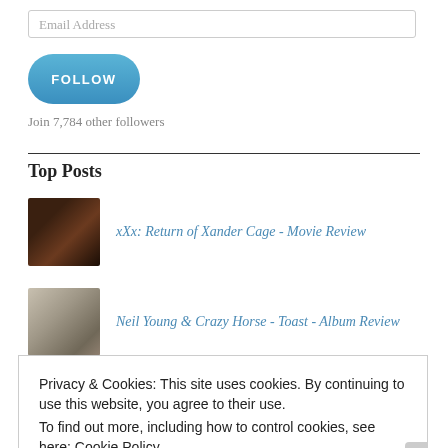Email Address
FOLLOW
Join 7,784 other followers
Top Posts
xXx: Return of Xander Cage - Movie Review
Neil Young & Crazy Horse - Toast - Album Review
On the Basis of Sex - Film Review
Privacy & Cookies: This site uses cookies. By continuing to use this website, you agree to their use.
To find out more, including how to control cookies, see here: Cookie Policy
Close and accept